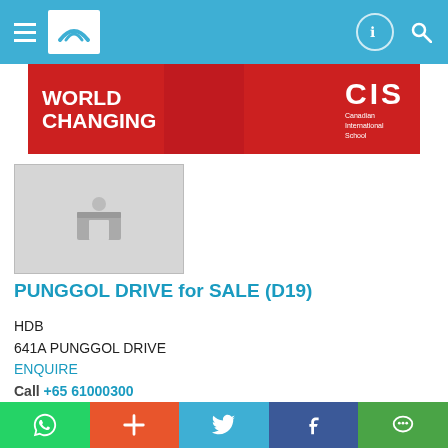Navigation bar with logo and search icons
[Figure (screenshot): CIS Canadian International School advertisement banner with WORLD CHANGING text on red background]
[Figure (photo): Property image placeholder with building icon on grey background]
PUNGGOL DRIVE for SALE (D19)
HDB
641A PUNGGOL DRIVE
ENQUIRE
Call +65 61000300
Listed on 10 Aug 22
Property Code: 6429141
S$ 590,000
(Negotiable)
S$ 493.72 psf (built-in)
1,195 sqft / 111.02 sqm (built-in)
WhatsApp | + | Twitter | Facebook | WeChat share buttons